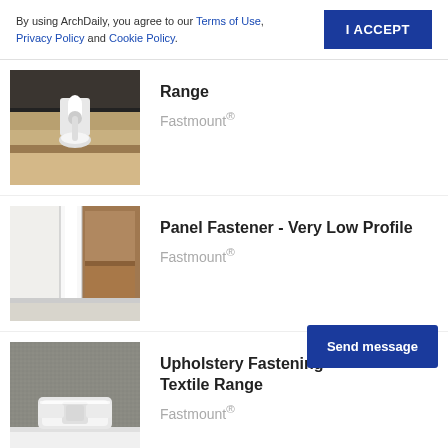By using ArchDaily, you agree to our Terms of Use, Privacy Policy and Cookie Policy.
I ACCEPT
Range
Fastmount®
[Figure (photo): Close-up photo of a white plastic panel fastener clip mounted between two panels, showing the hook and base components.]
Panel Fastener - Very Low Profile
Fastmount®
[Figure (photo): Photo of a corner of a room or cabinet interior showing white and wood-toned panels fitted together, demonstrating a very low profile panel fastener installation.]
Upholstery Fastening Textile Range
Fastmount®
[Figure (photo): Close-up photo of a white plastic upholstery fastening clip on a textured grey fabric surface, showing the fastener profile.]
Send message